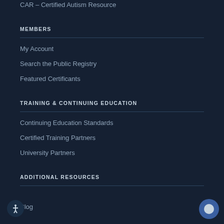CAR – Certified Autism Resource
MEMBERS
My Account
Search the Public Registry
Featured Certificants
TRAINING & CONTINUING EDUCATION
Continuing Education Standards
Certified Training Partners
University Partners
ADDITIONAL RESOURCES
Blog